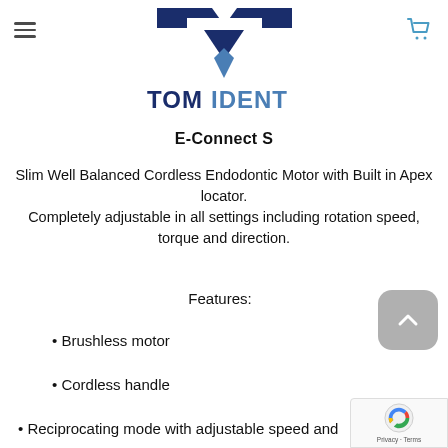[Figure (logo): TomDent logo — dark navy and steel blue stylized T shape above text TOMIDENT in dark navy and steel blue]
E-Connect S
Slim Well Balanced Cordless Endodontic Motor with Built in Apex locator. Completely adjustable in all settings including rotation speed, torque and direction.
Features:
Brushless motor
Cordless handle
Reciprocating mode with adjustable speed and